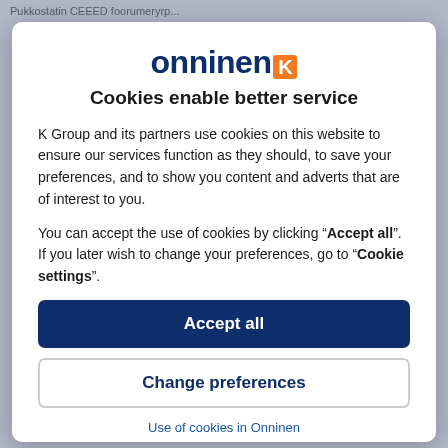Pukkostatin CEEED foorumeryrp...
[Figure (logo): Onninen logo with orange K box]
Cookies enable better service
K Group and its partners use cookies on this website to ensure our services function as they should, to save your preferences, and to show you content and adverts that are of interest to you.
You can accept the use of cookies by clicking “Accept all”. If you later wish to change your preferences, go to “Cookie settings”.
Accept all
Change preferences
Use of cookies in Onninen